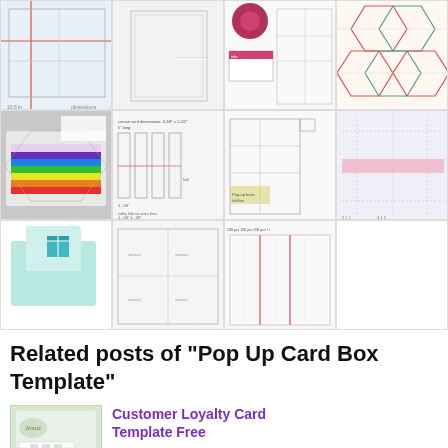[Figure (other): Grid of 11 card box template images arranged in a 4-column layout across 3 rows]
Related posts of "Pop Up Card Box Template"
[Figure (photo): Thumbnail of Customer Loyalty Card Template Free - shows a loyalty card design]
Customer Loyalty Card Template Free
There is a unconventional way. Rather than getting forgive